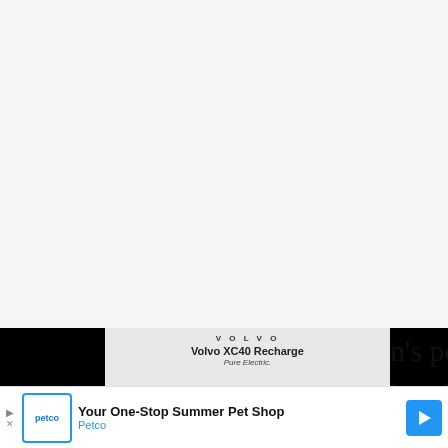[Figure (screenshot): White/gray empty top area of a web page, approximately the upper 74% of the page]
[Figure (screenshot): Volvo XC40 Recharge Pure Electric advertisement showing the car with color selector swatches and a CTA button, overlaid on black panels on left and right]
n's potential as ion. He showed he top of the n two NWA Wor
[Figure (screenshot): Petco banner ad: 'Your One-Stop Summer Pet Shop' with Petco logo and blue arrow button]